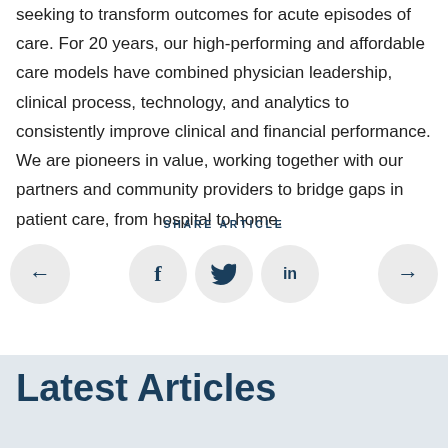seeking to transform outcomes for acute episodes of care. For 20 years, our high-performing and affordable care models have combined physician leadership, clinical process, technology, and analytics to consistently improve clinical and financial performance. We are pioneers in value, working together with our partners and community providers to bridge gaps in patient care, from hospital to home.
SHARE ARTICLE
[Figure (infographic): Social sharing buttons row: left arrow button, Facebook (f) button, Twitter (bird) button, LinkedIn (in) button, right arrow button]
Latest Articles